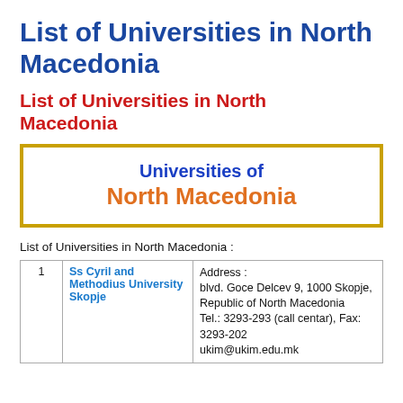List of Universities in North Macedonia
List of Universities in North Macedonia
[Figure (infographic): Bordered box with text 'Universities of North Macedonia' — 'Universities of' in blue bold, 'North Macedonia' in orange bold, yellow/gold border.]
List of Universities in North Macedonia :
|  | Name | Details |
| --- | --- | --- |
| 1 | Ss Cyril and Methodius University Skopje | Address :
blvd. Goce Delcev 9, 1000 Skopje, Republic of North Macedonia
Tel.: 3293-293 (call centar), Fax: 3293-202
ukim@ukim.edu.mk |